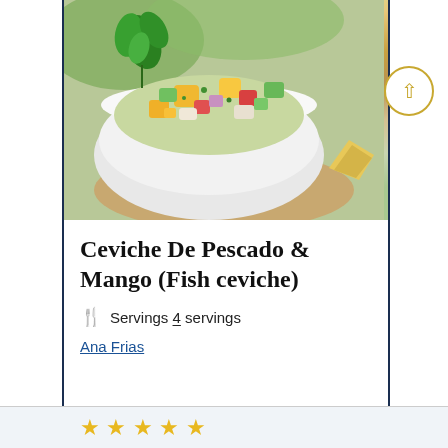[Figure (photo): A white bowl filled with colorful ceviche - diced mango, tomatoes, cucumber, onion, and herbs, garnished with fresh cilantro. A tortilla chip is visible at the bottom right. The bowl sits on a burlap surface.]
Ceviche De Pescado & Mango (Fish ceviche)
Servings 4 servings
Ana Frias
[Figure (other): Five gold/yellow star rating icons at the bottom of the page]